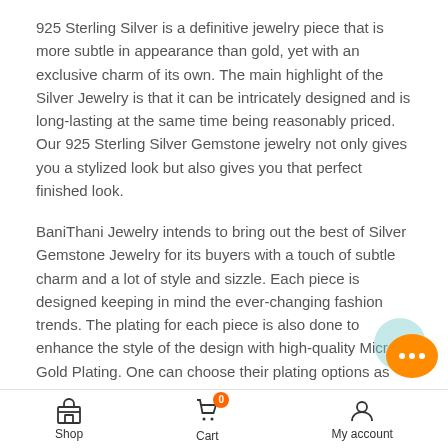925 Sterling Silver is a definitive jewelry piece that is more subtle in appearance than gold, yet with an exclusive charm of its own. The main highlight of the Silver Jewelry is that it can be intricately designed and is long-lasting at the same time being reasonably priced. Our 925 Sterling Silver Gemstone jewelry not only gives you a stylized look but also gives you that perfect finished look.
BaniThani Jewelry intends to bring out the best of Silver Gemstone Jewelry for its buyers with a touch of subtle charm and a lot of style and sizzle. Each piece is designed keeping in mind the ever-changing fashion trends. The plating for each piece is also done to enhance the style of the design with high-quality Micron Gold Plating. One can choose their plating options as per their taste.
• Please note that there will be slight variations in stone texture and color shades in the actual product that you receive. Stone
[Figure (other): Orange chat bubble icon with three dots, overlaid with a teal circle in background, positioned at lower right of content area]
Shop  Cart (0)  My account